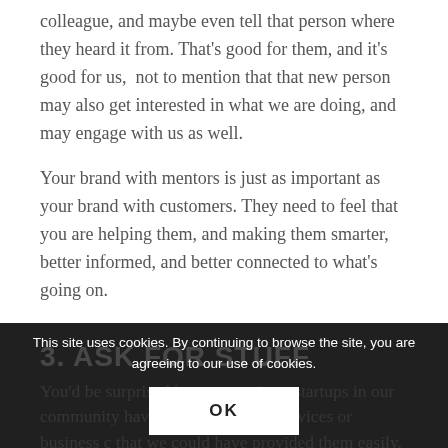colleague, and maybe even tell that person where they heard it from. That's good for them, and it's good for us,  not to mention that that new person may also get interested in what we are doing, and may engage with us as well.
Your brand with mentors is just as important as your brand with customers. They need to feel that you are helping them, and making them smarter, better informed, and better connected to what's going on.
3. ASK FOR STUFF
You'd be surprised how many times startups in our community have stro... d affordable services or business c... that we could have provided them easily. We don't do so for fear...
This site uses cookies. By continuing to browse the site, you are agreeing to our use of cookies.